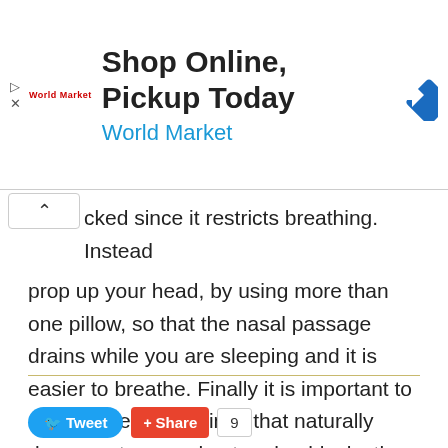[Figure (other): Advertisement banner for World Market: 'Shop Online, Pickup Today' with logo and navigation icon]
cked since it restricts breathing. Instead prop up your head, by using more than one pillow, so that the nasal passage drains while you are sleeping and it is easier to breathe. Finally it is important to exercise regularly since that naturally decongests your chest and unblocks the nose.
answered by G M
Tweet | Share | 9